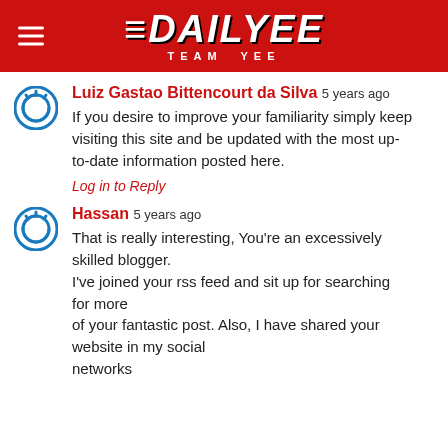DAILYEE - TEAM YEE
Luiz Gastao Bittencourt da Silva 5 years ago
If you desire to improve your familiarity simply keep visiting this site and be updated with the most up-to-date information posted here.
Log in to Reply
Hassan 5 years ago
That is really interesting, You're an excessively skilled blogger.
I've joined your rss feed and sit up for searching for more of your fantastic post. Also, I have shared your website in my social networks